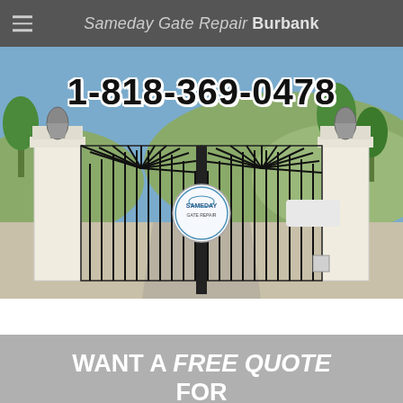Sameday Gate Repair Burbank
[Figure (photo): Photo of a decorative wrought iron driveway gate open on a concrete driveway, with white stone pillars on each side, trees and hills in the background. A circular Sameday Gate Repair logo badge is visible in the center of the gate. Phone number 1-818-369-0478 overlaid in large bold text at the top.]
WANT A FREE QUOTE FOR GATE REPAIR
WANT A FREE QUOTE FOR GATE REPAIR